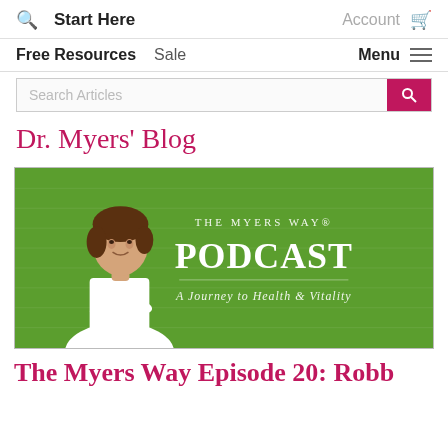Search  Start Here  Account  Cart
Free Resources  Sale  Menu
Search Articles
Dr. Myers' Blog
[Figure (photo): The Myers Way Podcast banner showing a woman with short brown hair in a white blouse with arms crossed, on a green background with hexagon pattern. Text reads: THE MYERS WAY® PODCAST A Journey to Health & Vitality]
The Myers Way Episode 20: Robb